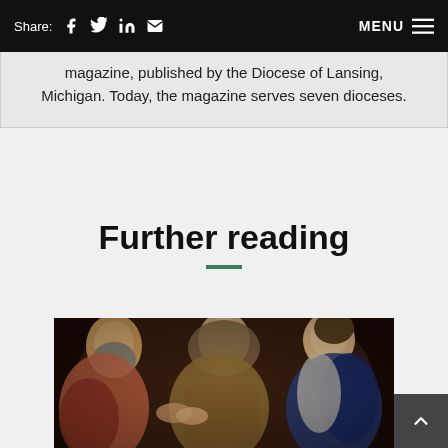Share: [Facebook] [Twitter] [LinkedIn] [Email]  MENU
magazine, published by the Diocese of Lansing, Michigan. Today, the magazine serves seven dioceses.
Further reading
[Figure (photo): Classical painting showing three figures: an elderly bearded man on the left, a middle-aged woman in a brown veil in the center, and a younger woman in blue drapery on the right, appearing to be engaged in a transaction or exchange.]